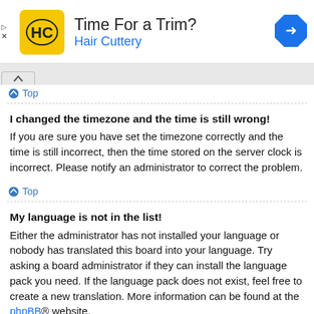[Figure (infographic): Hair Cuttery advertisement banner with yellow square logo showing HC initials, title 'Time For a Trim?', subtitle 'Hair Cuttery' in blue, and blue diamond navigation arrow icon on the right. Play and X controls on the left.]
Top
I changed the timezone and the time is still wrong!
If you are sure you have set the timezone correctly and the time is still incorrect, then the time stored on the server clock is incorrect. Please notify an administrator to correct the problem.
Top
My language is not in the list!
Either the administrator has not installed your language or nobody has translated this board into your language. Try asking a board administrator if they can install the language pack you need. If the language pack does not exist, feel free to create a new translation. More information can be found at the phpBB® website.
Top